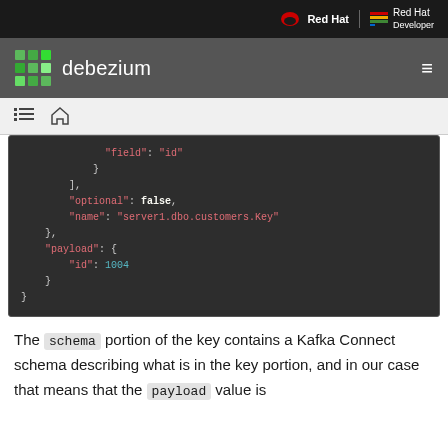Red Hat | Red Hat Developer
debezium
[Figure (screenshot): Dark-themed code block showing JSON with fields: field: id, ], optional: false, name: server1.dbo.customers.Key, }, payload: { id: 1004 } }]
The schema portion of the key contains a Kafka Connect schema describing what is in the key portion, and in our case that means that the payload value is